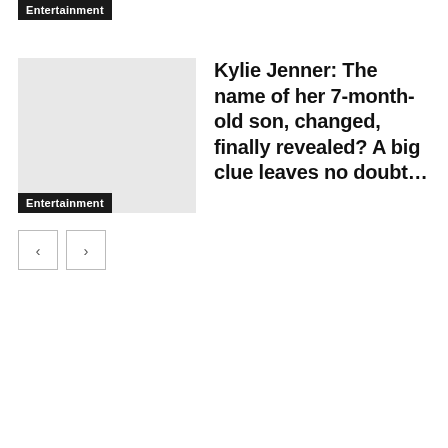Entertainment
[Figure (photo): Thumbnail image placeholder for article about Kylie Jenner]
Entertainment
Kylie Jenner: The name of her 7-month-old son, changed, finally revealed? A big clue leaves no doubt…